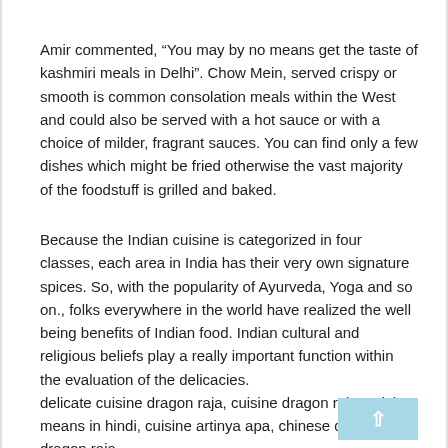Amir commented, “You may by no means get the taste of kashmiri meals in Delhi”. Chow Mein, served crispy or smooth is common consolation meals within the West and could also be served with a hot sauce or with a choice of milder, fragrant sauces. You can find only a few dishes which might be fried otherwise the vast majority of the foodstuff is grilled and baked.
Because the Indian cuisine is categorized in four classes, each area in India has their very own signature spices. So, with the popularity of Ayurveda, Yoga and so on., folks everywhere in the world have realized the well being benefits of Indian food. Indian cultural and religious beliefs play a really important function within the evaluation of the delicacies.
delicate cuisine dragon raja, cuisine dragon raja, cuisine means in hindi, cuisine artinya apa, chinese cuisine dragon raja
Japanese meals sometimes include a bowl of rice, soup, greens and fish, chosen from a spread reminiscent of squid, octopus, eel, clams, and other seafood.... Read More...